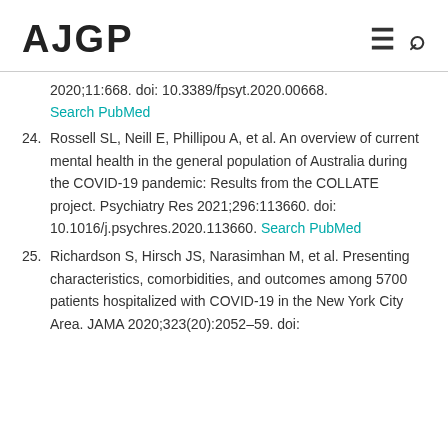AJGP
2020;11:668. doi: 10.3389/fpsyt.2020.00668. Search PubMed
24. Rossell SL, Neill E, Phillipou A, et al. An overview of current mental health in the general population of Australia during the COVID-19 pandemic: Results from the COLLATE project. Psychiatry Res 2021;296:113660. doi: 10.1016/j.psychres.2020.113660. Search PubMed
25. Richardson S, Hirsch JS, Narasimhan M, et al. Presenting characteristics, comorbidities, and outcomes among 5700 patients hospitalized with COVID-19 in the New York City Area. JAMA 2020;323(20):2052–59. doi: